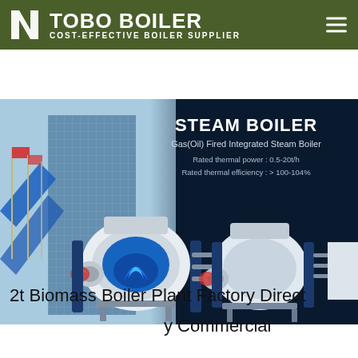[Figure (screenshot): TOBO BOILER website header with olive-green background, white logo, company name and tagline 'COST-EFFECTIVE BOILER SUPPLIER', hamburger menu icon]
[Figure (screenshot): Website banner showing Steam Boiler product: dark navy background with building photo on left, text overlay showing 'STEAM BOILER', 'Gas(Oil) Fired Integrated Steam Boiler', rated thermal power 0.5-20t/h, rated thermal efficiency >100-104%, three boiler product images in foreground]
2t Biomass Boiler Plant Factory Direct y Commercial
[Figure (screenshot): WhatsApp contact button in green with WhatsApp icon and text]